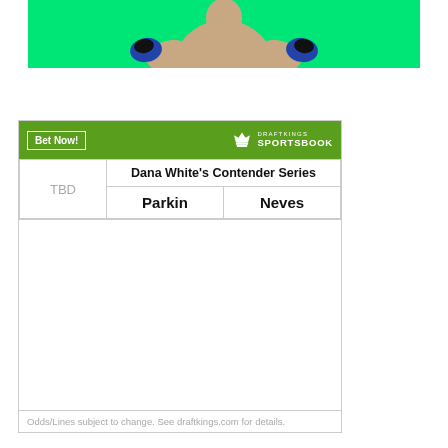[Figure (photo): MMA fighter in green background wearing blue and black gloves in a fighting pose, cropped at top of page]
| TBD | Dana White's Contender Series |  |
| --- | --- | --- |
| TBD | Parkin | Neves |
Odds/Lines subject to change. See draftkings.com for details.